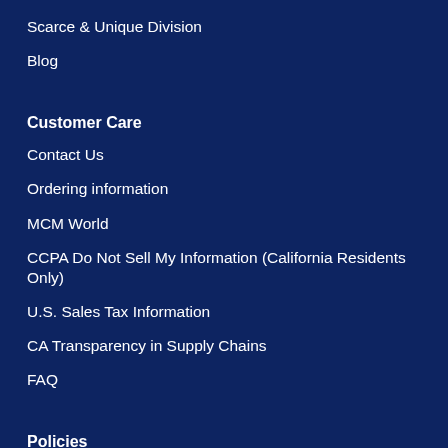Scarce & Unique Division
Blog
Customer Care
Contact Us
Ordering information
MCM World
CCPA Do Not Sell My Information (California Residents Only)
U.S. Sales Tax Information
CA Transparency in Supply Chains
FAQ
Policies
Shipping Policy
Return Policy